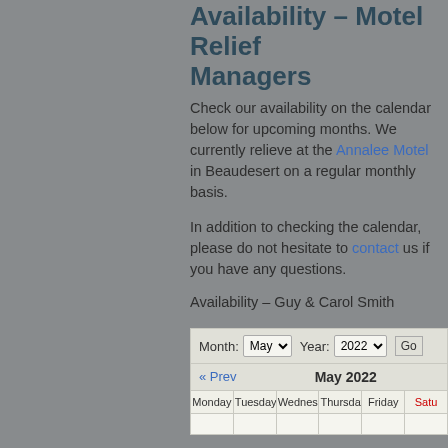Availability – Motel Relief Managers
Check our availability on the calendar below for upcoming months. We currently relieve at the Annalee Motel in Beaudesert on a regular monthly basis.
In addition to checking the calendar, please do not hesitate to contact us if you have any questions.
Availability – Guy & Carol Smith
[Figure (other): Calendar widget showing May 2022 with month/year dropdowns, Prev navigation, and day headers Monday through Saturday]